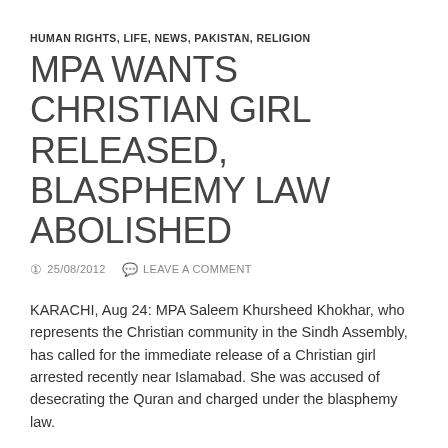HUMAN RIGHTS, LIFE, NEWS, PAKISTAN, RELIGION
MPA WANTS CHRISTIAN GIRL RELEASED, BLASPHEMY LAW ABOLISHED
25/08/2012  LEAVE A COMMENT
KARACHI, Aug 24: MPA Saleem Khursheed Khokhar, who represents the Christian community in the Sindh Assembly, has called for the immediate release of a Christian girl arrested recently near Islamabad. She was accused of desecrating the Quran and charged under the blasphemy law.
Speaking at a press conference at the Karachi Press Club on Friday, Mr Khokhar appealed to the government to abolish the